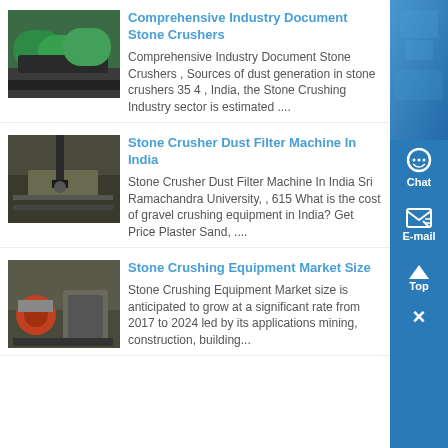[Figure (photo): Industrial stone crusher machine with large green motors/drums in a factory setting]
Comprehensive Industry Document Stone Crushers
Comprehensive Industry Document Stone Crushers , Sources of dust generation in stone crushers 35 4 , India, the Stone Crushing Industry sector is estimated ....
[Figure (photo): Stone crushing/drilling machine close-up with metal plate]
Stone Crusher Dust Filter Machine In India
Stone Crusher Dust Filter Machine In India Sri Ramachandra University, , 615 What is the cost of gravel crushing equipment in India? Get Price Plaster Sand, ....
[Figure (photo): Stone crushing equipment with red and grey parts in industrial setting]
Stone Crushing Equipment Market Size
Stone Crushing Equipment Market size is anticipated to grow at a significant rate from 2017 to 2024 led by its applications mining, construction, building...